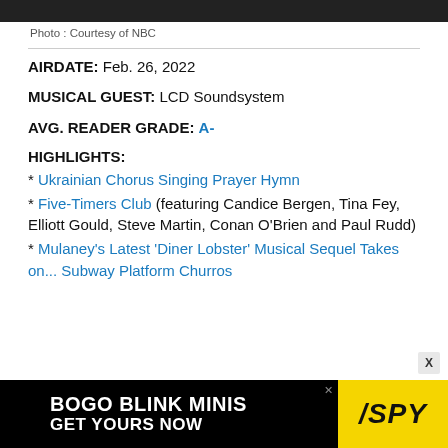[Figure (photo): Dark photo strip at top of page]
Photo : Courtesy of NBC
AIRDATE: Feb. 26, 2022
MUSICAL GUEST: LCD Soundsystem
AVG. READER GRADE: A-
HIGHLIGHTS:
* Ukrainian Chorus Singing Prayer Hymn
* Five-Timers Club (featuring Candice Bergen, Tina Fey, Elliott Gould, Steve Martin, Conan O'Brien and Paul Rudd)
* Mulaney's Latest 'Diner Lobster' Musical Sequel Takes on... Subway Platform Churros
[Figure (other): BOGO BLINK MINIS GET YOURS NOW advertisement with SPY logo on yellow background]